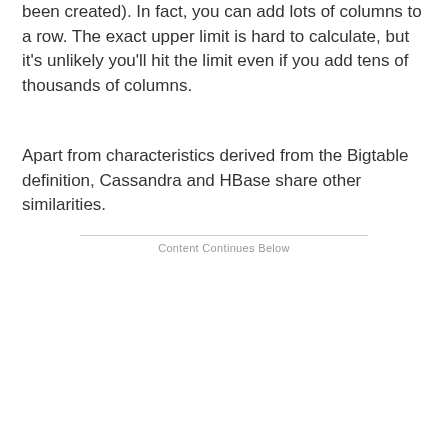been created). In fact, you can add lots of columns to a row. The exact upper limit is hard to calculate, but it's unlikely you'll hit the limit even if you add tens of thousands of columns.
Apart from characteristics derived from the Bigtable definition, Cassandra and HBase share other similarities.
Content Continues Below